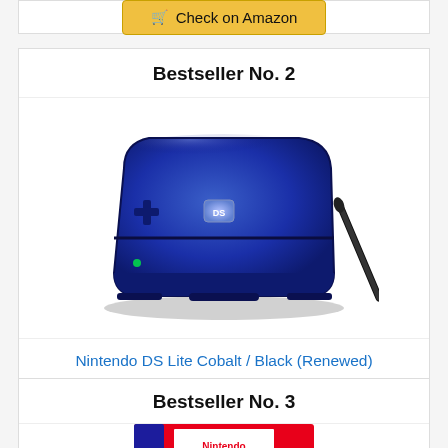[Figure (screenshot): Partial Amazon 'Check on Amazon' button from previous card (Bestseller No. 1)]
Bestseller No. 2
[Figure (photo): Nintendo DS Lite Cobalt / Black gaming handheld console with stylus pen]
Nintendo DS Lite Cobalt / Black (Renewed)
[Figure (screenshot): Check on Amazon button]
Bestseller No. 3
[Figure (photo): Partial view of Nintendo Switch product box (red/blue)]